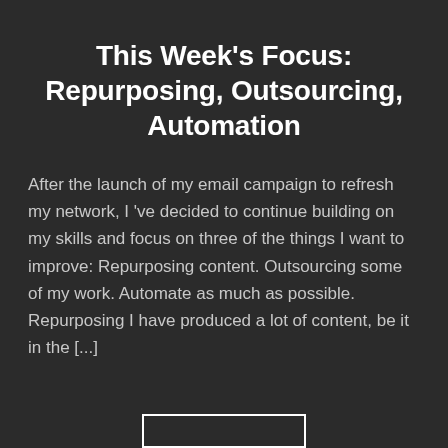This Week's Focus: Repurposing, Outsourcing, Automation
After the launch of my email campaign to refresh my network, I 've decided to continue building on my skills and focus on three of the things I want to improve: Repurposing content. Outsourcing some of my work. Automate as much as possible. Repurposing I have produced a lot of content, be it in the [...]